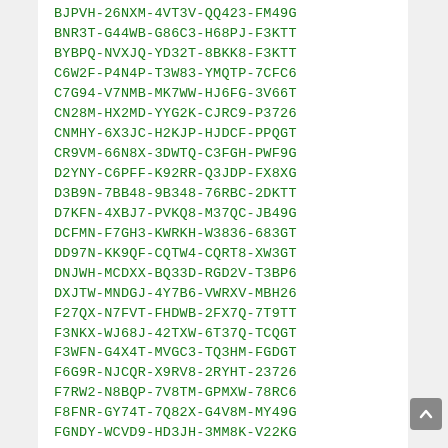BJPVH-26NXM-4VT3V-QQ423-FM49G
BNR3T-G44WB-G86C3-H68PJ-F3KTT
BYBPQ-NVXJQ-YD32T-8BKK8-F3KTT
C6W2F-P4N4P-T3W83-YMQTP-7CFC6
C7G94-V7NMB-MK7WW-HJ6FG-3V66T
CN28M-HX2MD-YYG2K-CJRC9-P3726
CNMHY-6X3JC-H2KJP-HJDCF-PPQGT
CR9VM-66N8X-3DWTQ-C3FGH-PWF9G
D2YNY-C6PFF-K92RR-Q3JDP-FX8XG
D3B9N-7BB48-9B348-76RBC-2DKTT
D7KFN-4XBJ7-PVKQ8-M37QC-JB49G
DCFMN-F7GH3-KWRKH-W3836-683GT
DD97N-KK9QF-CQTW4-CQRT8-XW3GT
DNJWH-MCDXX-BQ33D-RGD2V-T3BP6
DXJTW-MNDGJ-4Y7B6-VWRXV-MBH26
F27QX-N7FVT-FHDWB-2FX7Q-7T9TT
F3NKX-WJ68J-42TXW-6T37Q-TCQGT
F3WFN-G4X4T-MVGC3-TQ3HM-FGDGT
F6G9R-NJCQR-X9RV8-2RYHT-23726
F7RW2-N8BQP-7V8TM-GPMXW-78RC6
F8FNR-GY74T-7Q82X-G4V8M-MY49G
FGNDY-WCVD9-HD3JH-3MM8K-V22KG